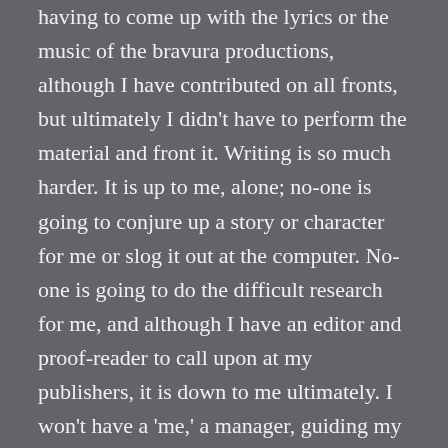having to come up with the lyrics or the music of the bravura productions, although I have contributed on all fronts, but ultimately I didn't have to perform the material and front it. Writing is so much harder. It is up to me, alone; no-one is going to conjure up a story or character for me or slog it out at the computer. No-one is going to do the difficult research for me, and although I have an editor and proof-reader to call upon at my publishers, it is down to me ultimately. I won't have a 'me,' a manager, guiding my career, promoting me, working themselves ragged twenty-four seven, year in year out, pushing only me and my talents. The publisher can only do so much. I have to come up with the goods all on my own. It is terrifying. It is the biggest challenge I've ever had.
Having said all that, I am having a blast. The best time. I